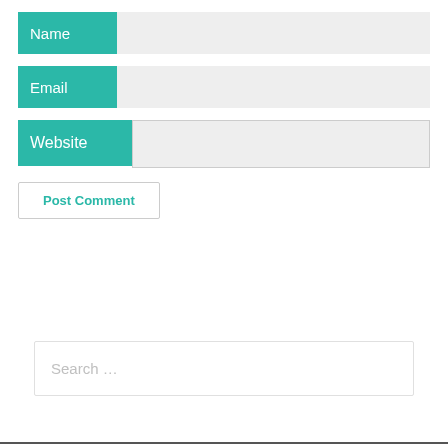Name
Email
Website
Post Comment
Search ...